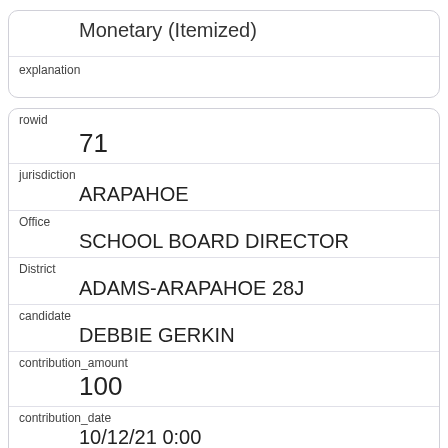Monetary (Itemized)
explanation
rowid
71
jurisdiction
ARAPAHOE
Office
SCHOOL BOARD DIRECTOR
District
ADAMS-ARAPAHOE 28J
candidate
DEBBIE GERKIN
contribution_amount
100
contribution_date
10/12/21 0:00
contributor
Richard  Daetwiler